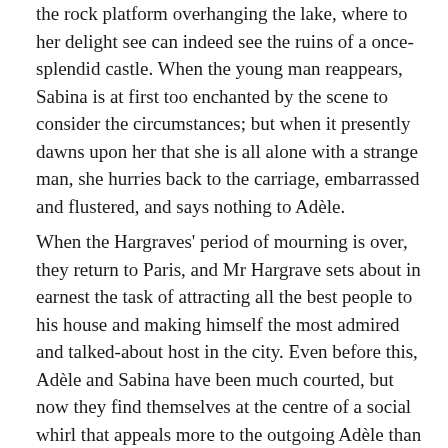the rock platform overhanging the lake, where to her delight see can indeed see the ruins of a once-splendid castle. When the young man reappears, Sabina is at first too enchanted by the scene to consider the circumstances; but when it presently dawns upon her that she is all alone with a strange man, she hurries back to the carriage, embarrassed and flustered, and says nothing to Adèle.
When the Hargraves' period of mourning is over, they return to Paris, and Mr Hargrave sets about in earnest the task of attracting all the best people to his house and making himself the most admired and talked-about host in the city. Even before this, Adèle and Sabina have been much courted, but now they find themselves at the centre of a social whirl that appeals more to the outgoing Adèle than to the romantic Sabina (who is "apt to fancy that there